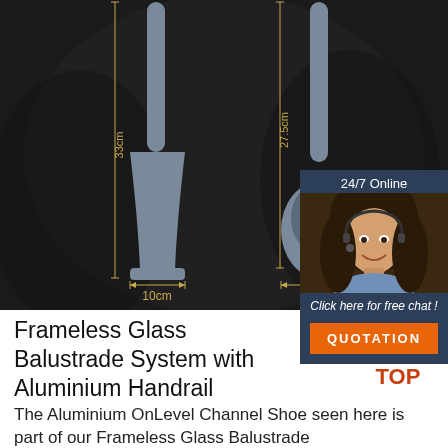[Figure (photo): Dark background product photo showing grey silicone kitchen utensils (spatula and ladles) with measurement annotations: 33cm, 27.5cm, 32.5cm vertical lengths and 10cm, 8.6cm horizontal widths indicated with dimension lines]
[Figure (photo): 24/7 Online chat widget with photo of female customer service representative wearing headset, 'Click here for free chat!' text, and orange QUOTATION button]
Frameless Glass Balustrade System with Aluminium Handrail
The Aluminium OnLevel Channel Shoe seen here is part of our Frameless Glass Balustrade